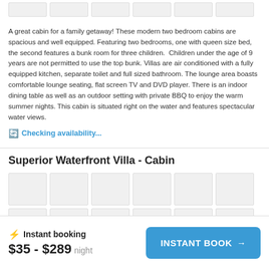[Figure (photo): Row of partially visible thumbnail images at top of page]
A great cabin for a family getaway! These modern two bedroom cabins are spacious and well equipped. Featuring two bedrooms, one with queen size bed, the second features a bunk room for three children.  Children under the age of 9 years are not permitted to use the top bunk. Villas are air conditioned with a fully equipped kitchen, separate toilet and full sized bathroom. The lounge area boasts comfortable lounge seating, flat screen TV and DVD player. There is an indoor dining table as well as an outdoor setting with private BBQ to enjoy the warm summer nights. This cabin is situated right on the water and features spectacular water views.
Checking availability...
Superior Waterfront Villa - Cabin
[Figure (photo): Grid of thumbnail images for Superior Waterfront Villa - Cabin listing]
Instant booking
$35 - $289 night
INSTANT BOOK →